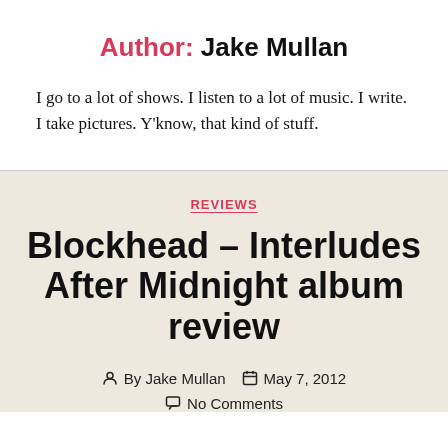Author: Jake Mullan
I go to a lot of shows. I listen to a lot of music. I write. I take pictures. Y'know, that kind of stuff.
REVIEWS
Blockhead – Interludes After Midnight album review
By Jake Mullan   May 7, 2012
No Comments